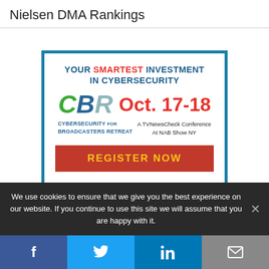Nielsen DMA Rankings
[Figure (infographic): CBR Cybersecurity for Broadcasters Retreat advertisement. Headline: YOUR SMARTEST INVESTMENT IN CYBERSECURITY. Logo: CBR. Date: Oct. 17-18. Subtitle: A TVNewsCheck Conference At NAB Show NY. Button: REGISTER NOW. Footer: PRODUCED BY TVNewsCheck.]
We use cookies to ensure that we give you the best experience on our website. If you continue to use this site we will assume that you are happy with it.
[Figure (infographic): Social sharing bar with Facebook, Twitter, LinkedIn, and email icons.]